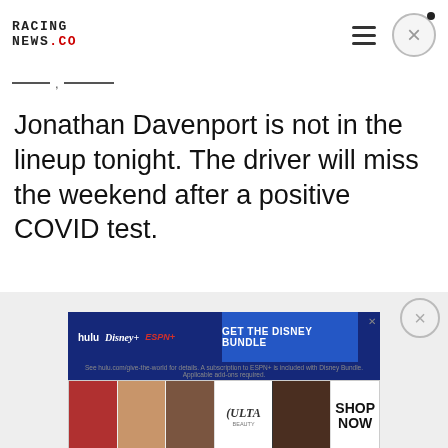RACING NEWS.CO
—,——— , ——,———
Jonathan Davenport is not in the lineup tonight. The driver will miss the weekend after a positive COVID test.
[Figure (screenshot): Advertisement banner: Disney Bundle (Hulu, Disney+, ESPN+) and Ulta Beauty SHOP NOW ad]